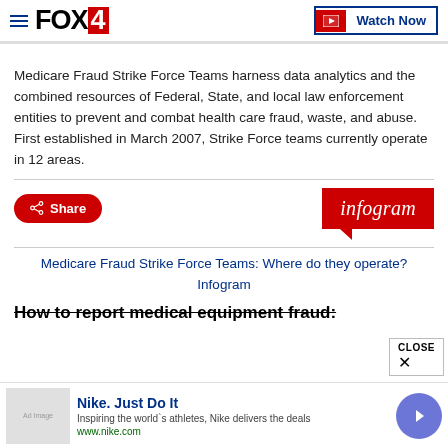FOX4 | Watch Now
Medicare Fraud Strike Force Teams harness data analytics and the combined resources of Federal, State, and local law enforcement entities to prevent and combat health care fraud, waste, and abuse. First established in March 2007, Strike Force teams currently operate in 12 areas.
[Figure (infographic): Share button and Infogram badge]
Medicare Fraud Strike Force Teams: Where do they operate?
Infogram
How to report medical equipment fraud: